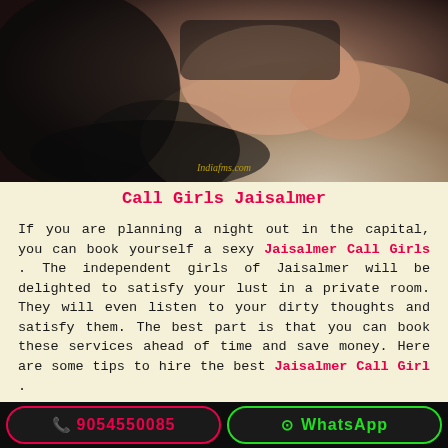[Figure (photo): Woman in black lingerie lying on a fur surface, with a watermark text overlay at the bottom center of the image.]
Call Girls Jaisalmer
If you are planning a night out in the capital, you can book yourself a sexy Jaisalmer Call Girls . The independent girls of Jaisalmer will be delighted to satisfy your lust in a private room. They will even listen to your dirty thoughts and satisfy them. The best part is that you can book these services ahead of time and save money. Here are some tips to hire the best Jaisalmer Call Girl .
Most women are attracted to men with charm and charisma. You can hire Jaisalmer Call Girls Cash Payment if you are fond of erotic movie actresses. These independent Call Girls will impress you with their hot moves and sexy personality. Whether you are a man who is looking for a man who can make him feel sexy and enchanting
📞 9054550085
WhatsApp